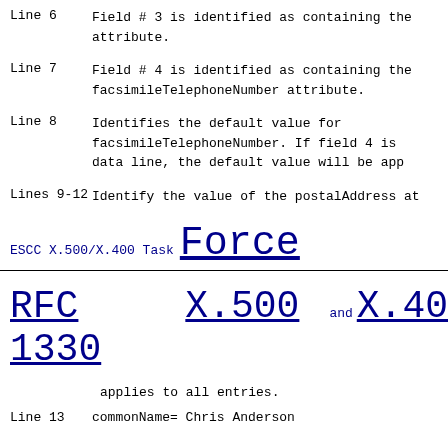Line 6    Field # 3 is identified as containing the attribute.
Line 7    Field # 4 is identified as containing the facsimileTelephoneNumber attribute.
Line 8    Identifies the default value for facsimileTelephoneNumber. If field 4 is data line, the default value will be app
Lines 9-12  Identify the value of the postalAddress at
ESCC X.500/X.400 Task Force
RFC 1330   X.500 and X.40
applies to all entries.
Line 13  commonName= Chris Anderson